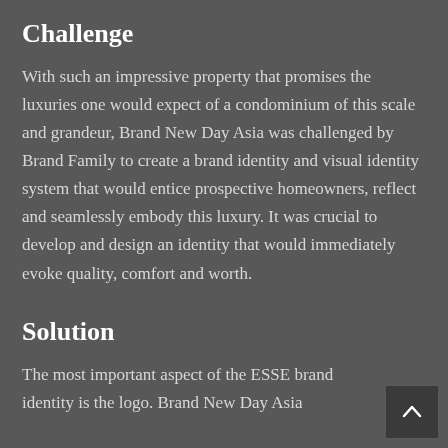Challenge
With such an impressive property that promises the luxuries one would expect of a condominium of this scale and grandeur, Brand New Day Asia was challenged by Brand Family to create a brand identity and visual identity system that would entice prospective homeowners, reflect and seamlessly embody this luxury. It was crucial to develop and design an identity that would immediately evoke quality, comfort and worth.
Solution
The most important aspect of the ESSE brand identity is the logo. Brand New Day Asia